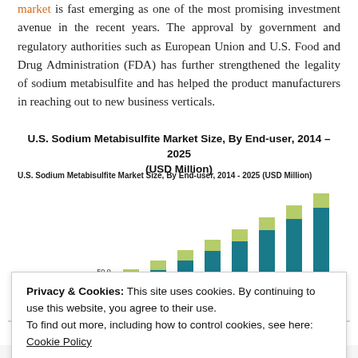market is fast emerging as one of the most promising investment avenue in the recent years. The approval by government and regulatory authorities such as European Union and U.S. Food and Drug Administration (FDA) has further strengthened the legality of sodium metabisulfite and has helped the product manufacturers in reaching out to new business verticals.
U.S. Sodium Metabisulfite Market Size, By End-user, 2014 – 2025 (USD Million)
[Figure (stacked-bar-chart): U.S. Sodium Metabisulfite Market Size, By End-user, 2014 - 2025 (USD Million)]
Privacy & Cookies: This site uses cookies. By continuing to use this website, you agree to their use.
To find out more, including how to control cookies, see here: Cookie Policy
Source: www.gminsights.com